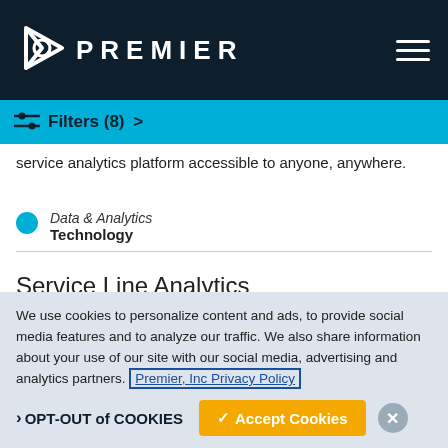[Figure (logo): Premier Inc logo with triangular arrow icon and text PREMIER on dark navy background with hamburger menu icon]
Filters (8) >
service analytics platform accessible to anyone, anywhere.
Data & Analytics
Technology
Service Line Analytics
Cost relative to outcomes. Understand high-value opportunities through integrated cost and quality analytics.
We use cookies to personalize content and ads, to provide social media features and to analyze our traffic. We also share information about your use of our site with our social media, advertising and analytics partners. Premier, Inc Privacy Policy
OPT-OUT of COOKIES   ✓ Accept Cookies   ×